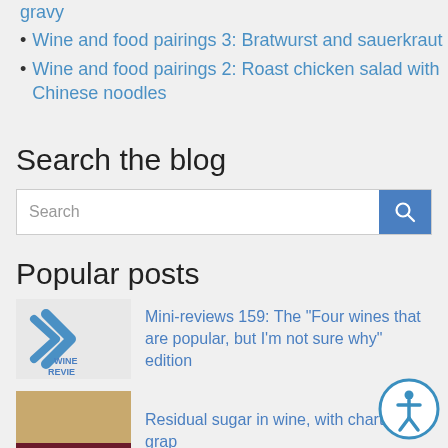gravy
Wine and food pairings 3: Bratwurst and sauerkraut
Wine and food pairings 2: Roast chicken salad with Chinese noodles
Search the blog
Popular posts
Mini-reviews 159: The "Four wines that are popular, but I'm not sure why" edition
Residual sugar in wine, with charts and grap